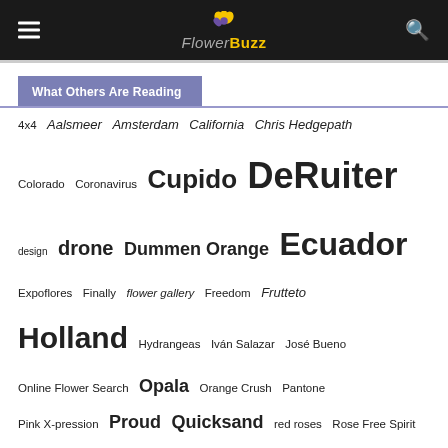FlowerBuzz
What Others Are Reading
4x4 Aalsmeer Amsterdam California Chris Hedgepath Colorado Coronavirus Cupido DeRuiter design drone Dummen Orange Ecuador Expoflores Finally flower gallery Freedom Frutteto Holland Hydrangeas Iván Salazar José Bueno Online Flower Search Opala Orange Crush Pantone Pink X-pression Proud Quicksand red roses Rose Free Spirit Rose of the Month roses Russia Snow Bliss State Flowers Sunflowers Super Sun